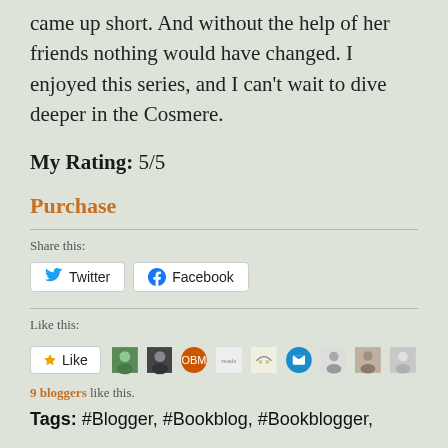came up short. And without the help of her friends nothing would have changed. I enjoyed this series, and I can't wait to dive deeper in the Cosmere.
My Rating: 5/5
Purchase
Share this:
Twitter  Facebook
Like this:
Like  9 bloggers like this.
Tags: #Blogger, #Bookblog, #Bookblogger,